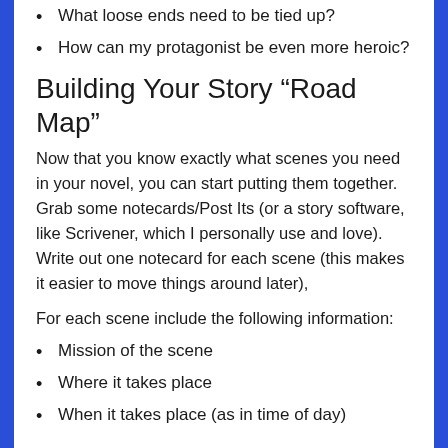What loose ends need to be tied up?
How can my protagonist be even more heroic?
Building Your Story “Road Map”
Now that you know exactly what scenes you need in your novel, you can start putting them together. Grab some notecards/Post Its (or a story software, like Scrivener, which I personally use and love). Write out one notecard for each scene (this makes it easier to move things around later),
For each scene include the following information:
Mission of the scene
Where it takes place
When it takes place (as in time of day)